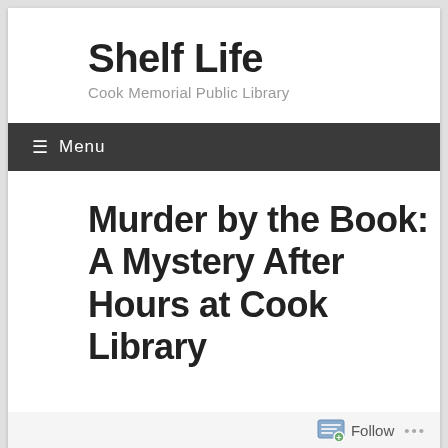Shelf Life
Cook Memorial Public Library
≡ Menu
Murder by the Book: A Mystery After Hours at Cook Library
Follow ...